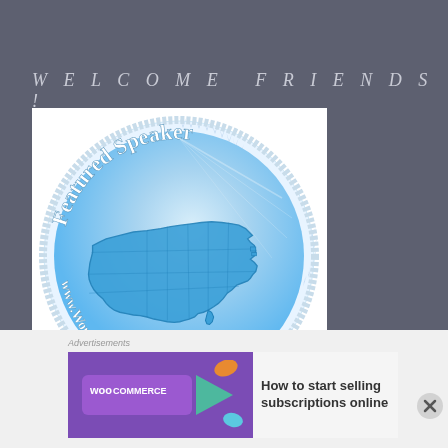WELCOME FRIENDS!
[Figure (logo): Featured Speaker badge with a blue US map and text 'www.WomenSpeakers.com' on a circular badge with spiky border]
Advertisements
[Figure (illustration): WooCommerce advertisement banner: purple section with WooCommerce logo and arrow, white section with text 'How to start selling subscriptions online']